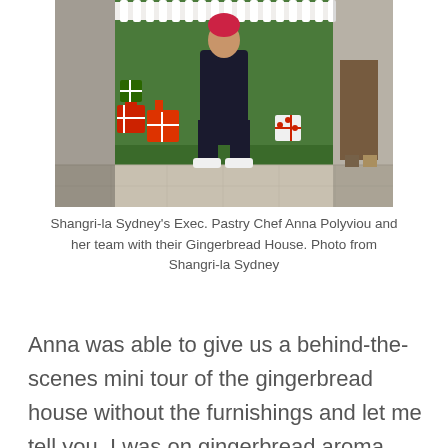[Figure (photo): A photo showing Shangri-la Sydney's Exec. Pastry Chef Anna Polyviou and her team posing with their Gingerbread House. A person is seated in front of wrapped Christmas presents and a green backdrop with a white picket fence. The floor is tiled marble.]
Shangri-la Sydney's Exec. Pastry Chef Anna Polyviou and her team with their Gingerbread House. Photo from Shangri-la Sydney
Anna was able to give us a behind-the-scenes mini tour of the gingerbread house without the furnishings and let me tell you, I was on gingerbread aroma high when we went inside.